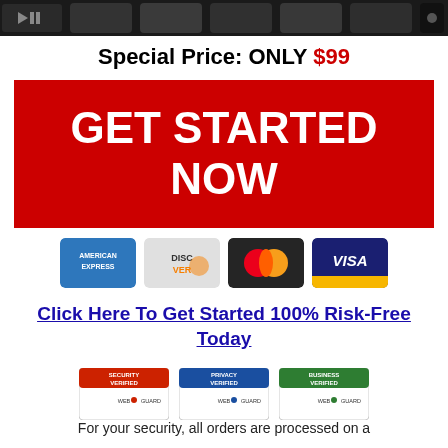[Figure (screenshot): Row of media player / device product images along the top strip]
Special Price: ONLY $99
[Figure (infographic): Large red call-to-action button reading GET STARTED NOW in white bold text]
[Figure (infographic): Row of payment card logos: American Express, Discover, Mastercard, Visa]
Click Here To Get Started 100% Risk-Free Today
[Figure (infographic): Three WebGuard trust badges: Security Verified, Privacy Verified, Business Verified]
For your security, all orders are processed on a